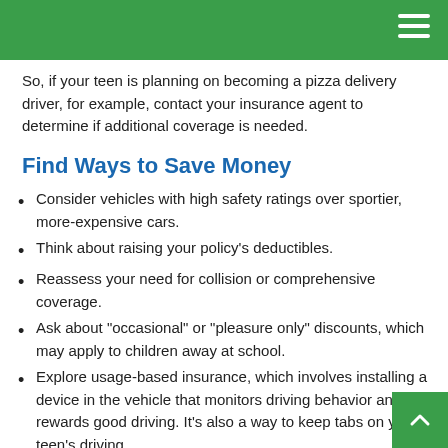So, if your teen is planning on becoming a pizza delivery driver, for example, contact your insurance agent to determine if additional coverage is needed.
Find Ways to Save Money
Consider vehicles with high safety ratings over sportier, more-expensive cars.
Think about raising your policy’s deductibles.
Reassess your need for collision or comprehensive coverage.
Ask about “occasional” or “pleasure only” discounts, which may apply to children away at school.
Explore usage-based insurance, which involves installing a device in the vehicle that monitors driving behavior and rewards good driving. It’s also a way to keep tabs on your teen’s driving.